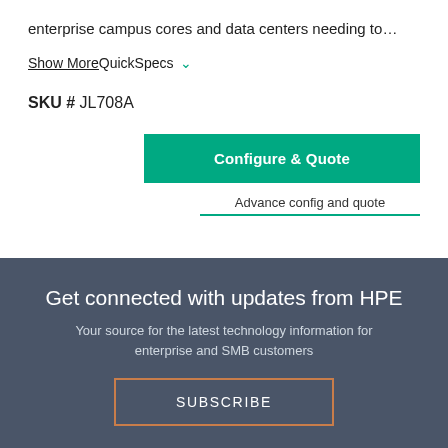enterprise campus cores and data centers needing to…
Show More
QuickSpecs ∨
SKU # JL708A
Configure & Quote
Advance config and quote
Get connected with updates from HPE
Your source for the latest technology information for enterprise and SMB customers
SUBSCRIBE